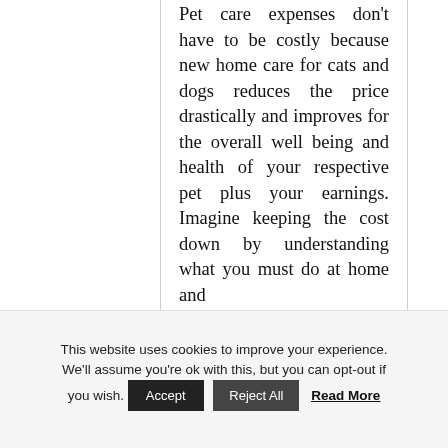Pet care expenses don't have to be costly because new home care for cats and dogs reduces the price drastically and improves for the overall well being and health of your respective pet plus your earnings. Imagine keeping the cost down by understanding what you must do at home and
This website uses cookies to improve your experience. We'll assume you're ok with this, but you can opt-out if you wish. Accept Reject All Read More